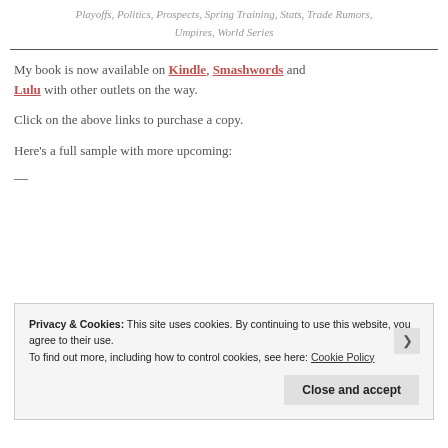Playoffs, Politics, Prospects, Spring Training, Stats, Trade Rumors, Umpires, World Series
My book is now available on Kindle, Smashwords and Lulu with other outlets on the way.
Click on the above links to purchase a copy.
Here’s a full sample with more upcoming:
—
Privacy & Cookies: This site uses cookies. By continuing to use this website, you agree to their use. To find out more, including how to control cookies, see here: Cookie Policy